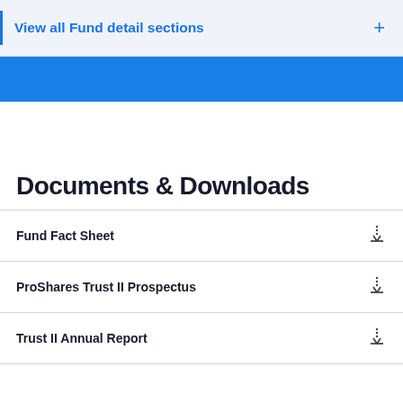View all Fund detail sections
[Figure (other): Blue horizontal banner bar]
Documents & Downloads
Fund Fact Sheet
ProShares Trust II Prospectus
Trust II Annual Report